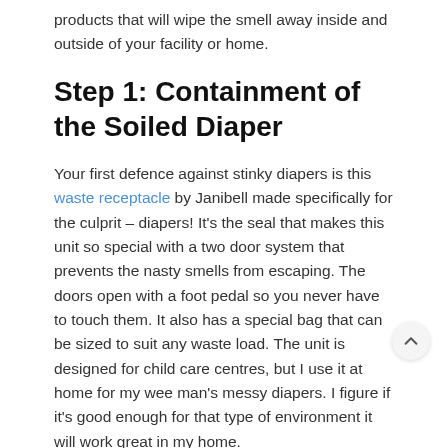products that will wipe the smell away inside and outside of your facility or home.
Step 1: Containment of the Soiled Diaper
Your first defence against stinky diapers is this waste receptacle by Janibell made specifically for the culprit – diapers! It's the seal that makes this unit so special with a two door system that prevents the nasty smells from escaping. The doors open with a foot pedal so you never have to touch them. It also has a special bag that can be sized to suit any waste load. The unit is designed for child care centres, but I use it at home for my wee man's messy diapers. I figure if it's good enough for that type of environment it will work great in my home.
Step 2: Prevent odour after the diapers leave the Janibell waste receptacle